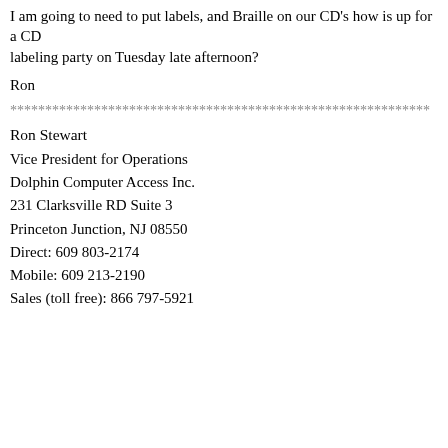I am going to need to put labels, and Braille on our CD's how is up for
a CD
labeling party on Tuesday late afternoon?
Ron
************************************************************
Ron Stewart
Vice President for Operations
Dolphin Computer Access Inc.
231 Clarksville RD Suite 3
Princeton Junction, NJ 08550
Direct: 609 803-2174
Mobile: 609 213-2190
Sales (toll free): 866 797-5921